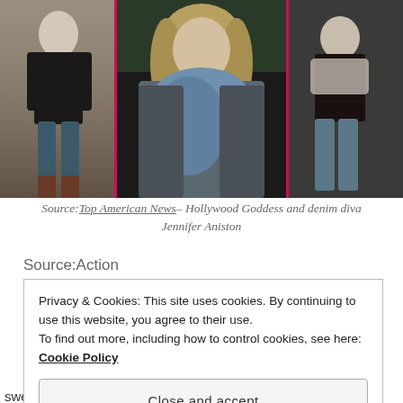[Figure (photo): Photo collage of three images of Jennifer Aniston wearing casual outfits including jeans, jackets and scarves. Left photo shows her in a black coat and jeans with brown boots. Center large photo shows her with a blue scarf and grey jacket. Right photo shows her in a black leather jacket with a grey scarf and jeans.]
Source: Top American News – Hollywood Goddess and denim diva Jennifer Aniston
Source:Action
Privacy & Cookies: This site uses cookies. By continuing to use this website, you agree to their use.
To find out more, including how to control cookies, see here: Cookie Policy
Close and accept
sweetheart when she got her big break with the NBC